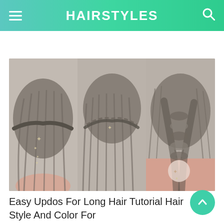HAIRSTYLES
[Figure (photo): Three-panel photo showing back-of-head hairstyles: left panel shows half-up style with starfish accessories, center panel shows waterfall braid with starfish clip, right panel shows French braid with ribbon and pearl accessory.]
Easy Updos For Long Hair Tutorial Hair Style And Color For